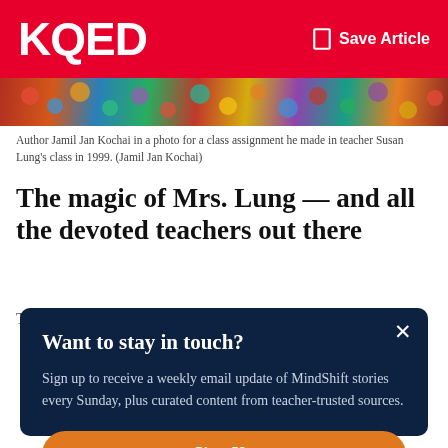KQED  Save Article
[Figure (photo): Colorful crowd photo strip used as decorative image background]
Author Jamil Jan Kochai in a photo for a class assignment he made in teacher Susan Lung's class in 1999. (Jamil Jan Kochai)
The magic of Mrs. Lung — and all the devoted teachers out there
The... Mrs. Lung teacher invisible realized that Kochai i...
Want to stay in touch?
Sign up to receive a weekly email update of MindShift stories every Sunday, plus curated content from teacher-trusted sources.
Sign Up